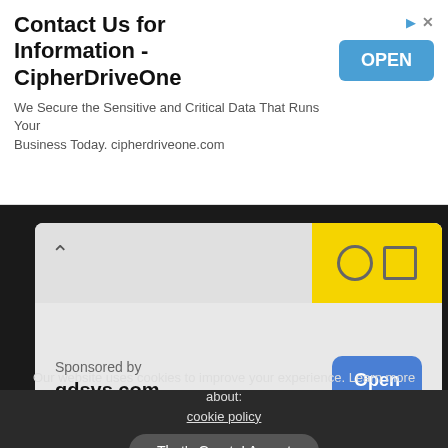[Figure (screenshot): Advertisement banner for CipherDriveOne with title 'Contact Us for Information - CipherDriveOne', subtitle 'We Secure the Sensitive and Critical Data That Runs Your Business Today. cipherdriveone.com', and a blue OPEN button]
[Figure (screenshot): Sponsored ad card for gdsys.com with yellow section, chevron up icon, and blue Open button on dark background]
Leave a Reply
Our website uses cookies to improve your experience. Learn more about: cookie policy
That's Great, I Accept